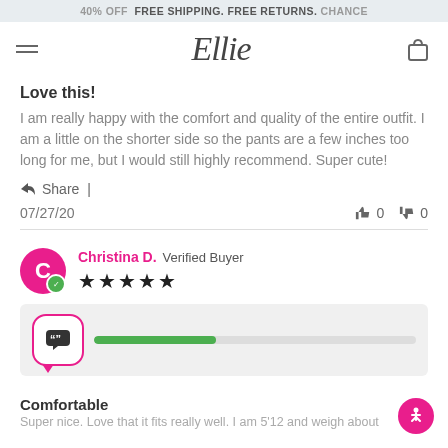40% OFF  FREE SHIPPING. FREE RETURNS. CHANCE
[Figure (logo): Ellie script logo with hamburger menu and shopping bag icon]
Love this!
I am really happy with the comfort and quality of the entire outfit. I am a little on the shorter side so the pants are a few inches too long for me, but I would still highly recommend. Super cute!
Share  |
07/27/20   👍 0   👎 0
Christina D.  Verified Buyer  ★★★★★
[Figure (infographic): Review widget box with quote icon and a progress bar partially filled in green]
Comfortable
Super nice. Love that it fits really well. I am 5'12 and weigh about